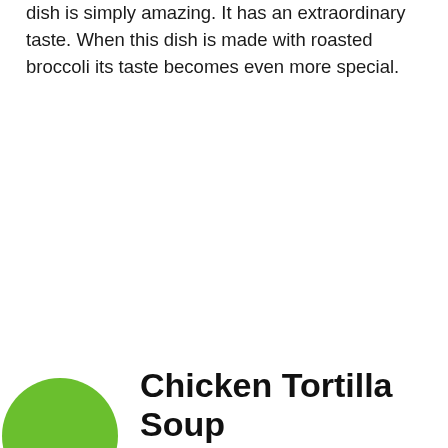dish is simply amazing. It has an extraordinary taste. When this dish is made with roasted broccoli its taste becomes even more special.
[Figure (illustration): A green circular icon/badge partially visible at bottom-left corner of the page]
Chicken Tortilla Soup